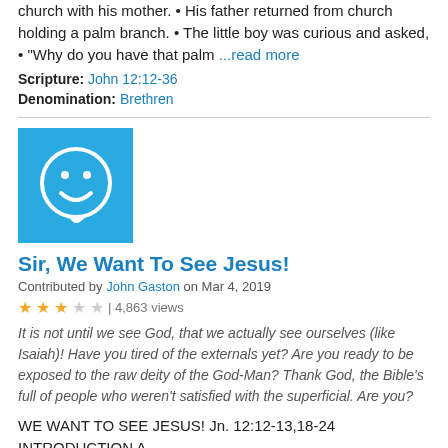church with his mother. • His father returned from church holding a palm branch. • The little boy was curious and asked, • "Why do you have that palm ...read more
Scripture: John 12:12-36
Denomination: Brethren
[Figure (illustration): Blue square icon with white smiley face speech bubble]
Sir, We Want To See Jesus!
Contributed by John Gaston on Mar 4, 2019
★★★☆☆ | 4,863 views
It is not until we see God, that we actually see ourselves (like Isaiah)! Have you tired of the externals yet? Are you ready to be exposed to the raw deity of the God-Man? Thank God, the Bible's full of people who weren't satisfied with the superficial. Are you?
WE WANT TO SEE JESUS! Jn. 12:12-13,18-24 INTRODUCTION A.